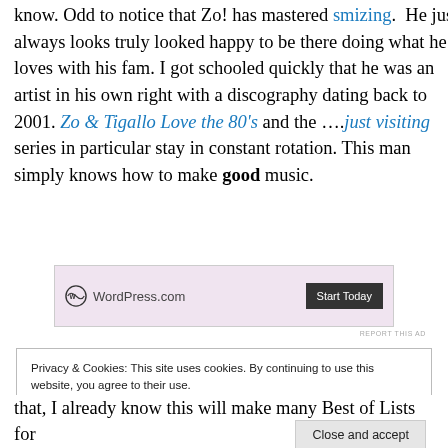know. Odd to notice that Zo! has mastered smizing.  He just always looks truly looked happy to be there doing what he loves with his fam. I got schooled quickly that he was an artist in his own right with a discography dating back to 2001. Zo & Tigallo Love the 80's and the ….just visiting series in particular stay in constant rotation. This man simply knows how to make good music.
[Figure (other): WordPress.com advertisement banner with logo and 'Start Today' button on a light pink/lavender background]
REPORT THIS AD
Privacy & Cookies: This site uses cookies. By continuing to use this website, you agree to their use. To find out more, including how to control cookies, see here: Cookie Policy
Close and accept
that, I already know this will make many Best of Lists for